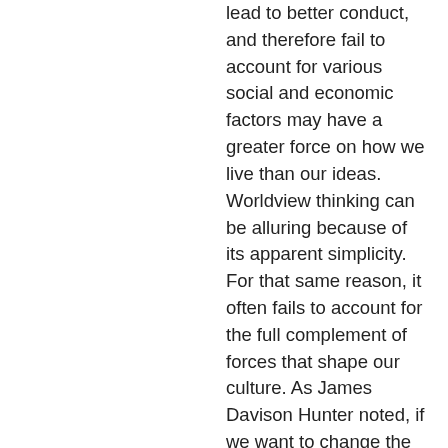lead to better conduct, and therefore fail to account for various social and economic factors may have a greater force on how we live than our ideas. Worldview thinking can be alluring because of its apparent simplicity. For that same reason, it often fails to account for the full complement of forces that shape our culture. As James Davison Hunter noted, if we want to change the world, we're going to have to wean